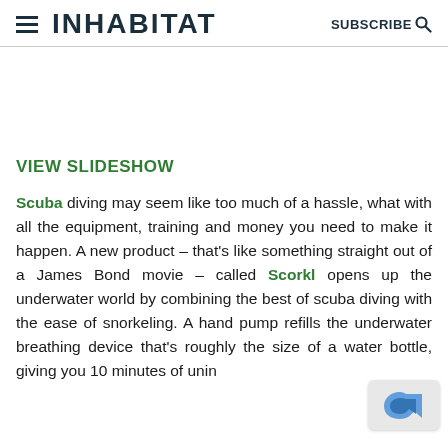INHABITAT | SUBSCRIBE
VIEW SLIDESHOW
Scuba diving may seem like too much of a hassle, what with all the equipment, training and money you need to make it happen. A new product – that's like something straight out of a James Bond movie – called Scorkl opens up the underwater world by combining the best of scuba diving with the ease of snorkeling. A hand pump refills the underwater breathing device that's roughly the size of a water bottle, giving you 10 minutes of unin